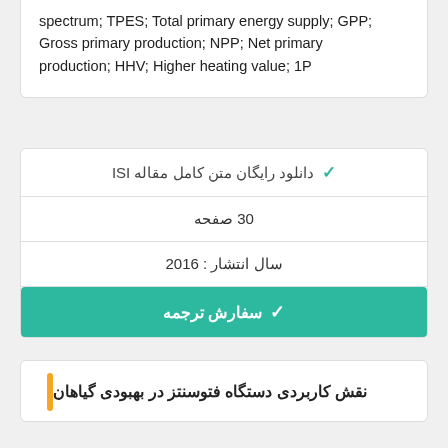spectrum; TPES; Total primary energy supply; GPP; Gross primary production; NPP; Net primary production; HHV; Higher heating value; 1P
✔ دانلود رایگان متن کامل مقاله ISI
30 صفحه
سال انتشار : 2016
✔ سفارش ترجمه
نقش کاربردی دستگاه فتوسنتز در بهبودی گیاهان